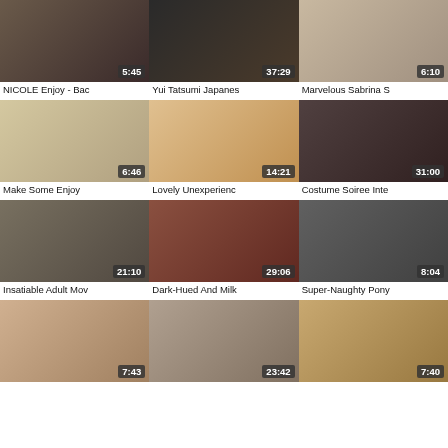[Figure (photo): Video thumbnail 1 with duration 5:45]
NICOLE Enjoy - Bac
[Figure (photo): Video thumbnail 2 with duration 37:29]
Yui Tatsumi Japanes
[Figure (photo): Video thumbnail 3 with duration 6:10]
Marvelous Sabrina S
[Figure (photo): Video thumbnail 4 with duration 6:46]
Make Some Enjoy
[Figure (photo): Video thumbnail 5 with duration 14:21]
Lovely Unexperienc
[Figure (photo): Video thumbnail 6 with duration 31:00]
Costume Soiree Inte
[Figure (photo): Video thumbnail 7 with duration 21:10]
Insatiable Adult Mov
[Figure (photo): Video thumbnail 8 with duration 29:06]
Dark-Hued And Milk
[Figure (photo): Video thumbnail 9 with duration 8:04]
Super-Naughty Pony
[Figure (photo): Video thumbnail 10 with duration 7:43]
[Figure (photo): Video thumbnail 11 with duration 23:42]
[Figure (photo): Video thumbnail 12 with duration 7:40]